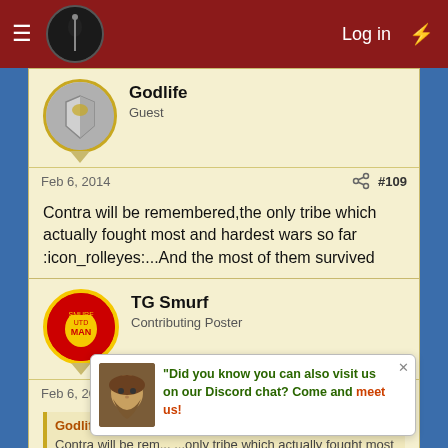Log in
Godlife
Guest
Feb 6, 2014  #109
Contra will be remembered,the only tribe which actually fought most and hardest wars so far :icon_rolleyes:...And the most of them survived
TG Smurf
Contributing Poster
Feb 6, 2014  #110
Godlife said:
Contra will be remembered...only tribe which actually fought most and hardest wars so far :icon_rolleyes:...most of them survived
Did you know you can also visit us on our Discord chat? Come and meet us!